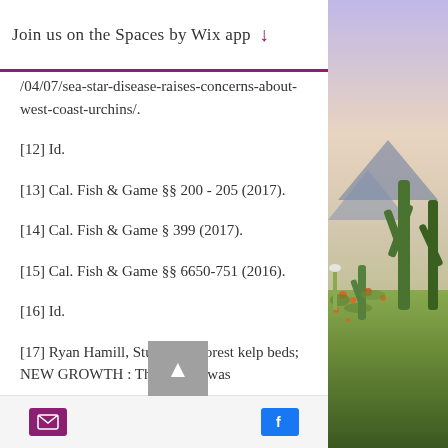Join us on the Spaces by Wix app ↓
/04/07/sea-star-disease-raises-concerns-about-west-coast-urchins/.
[12] Id.
[13] Cal. Fish & Game §§ 200 - 205 (2017).
[14] Cal. Fish & Game § 399 (2017).
[15] Cal. Fish & Game §§ 6650-751 (2016).
[16] Id.
[17] Ryan Hamill, Students reforest kelp beds; NEW GROWTH : The project was
[Figure (photo): Desert landscape with saguaro cacti and wildflowers under a purple/pink sky]
Email icon | Facebook icon